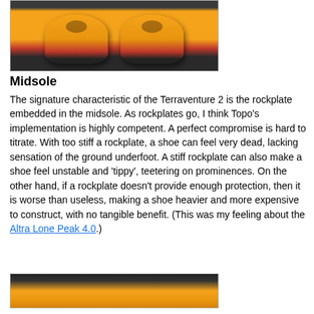[Figure (photo): Top-down view of yellow and red trail running shoes (Topo Terraventure 2) on a dark surface]
Midsole
The signature characteristic of the Terraventure 2 is the rockplate embedded in the midsole.   As rockplates go, I think Topo’s implementation is highly competent.  A perfect compromise is hard to titrate.  With too stiff a rockplate, a shoe can feel very dead, lacking sensation of the ground underfoot.  A stiff rockplate can also make a shoe feel unstable and ‘tippy’, teetering on prominences. On the other hand, if a rockplate doesn’t provide enough protection, then it is worse than useless, making a shoe heavier and more expensive to construct, with no tangible benefit. (This was my feeling about the Altra Lone Peak 4.0.)
[Figure (photo): Partial view of yellow trail running shoe, bottom of page]